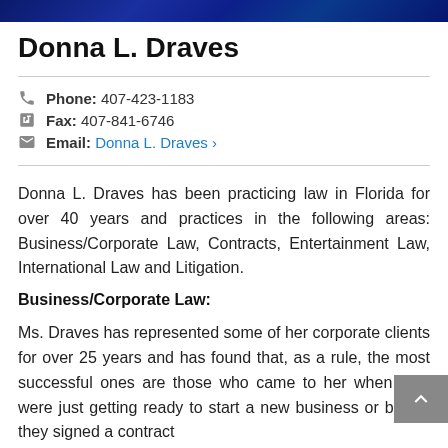[Figure (photo): Dark blue decorative banner image at top of page]
Donna L. Draves
Phone: 407-423-1183
Fax: 407-841-6746
Email: Donna L. Draves ›
Donna L. Draves has been practicing law in Florida for over 40 years and practices in the following areas: Business/Corporate Law, Contracts, Entertainment Law, International Law and Litigation.
Business/Corporate Law:
Ms. Draves has represented some of her corporate clients for over 25 years and has found that, as a rule, the most successful ones are those who came to her when they were just getting ready to start a new business or before they signed a contract